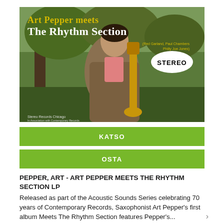[Figure (illustration): Album cover of 'Art Pepper meets The Rhythm Section' showing a man holding a saxophone, standing by a tree. Text on cover: 'Art Pepper meets The Rhythm Section (Red Garland, Paul Chambers, Philly Joe Jones)' with a STEREO oval badge. Bottom left: 'Stereo Records Chicago'. Background is a natural outdoor scene.]
KATSO
OSTA
PEPPER, ART - ART PEPPER MEETS THE RHYTHM SECTION LP
Released as part of the Acoustic Sounds Series celebrating 70 years of Contemporary Records, Saxophonist Art Pepper's first album Meets The Rhythm Section features Pepper's...